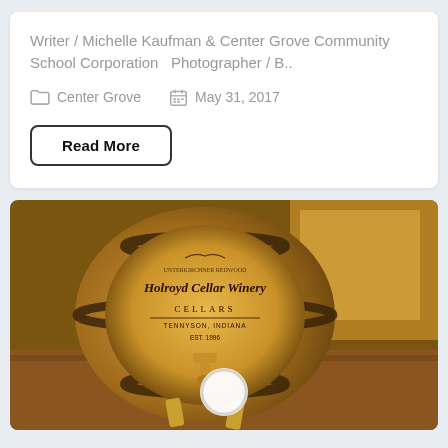Writer / Michelle Kaufman & Center Grove Community School Corporation  Photographer / B..
Center Grove   May 31, 2017
Read More
[Figure (photo): Close-up photo of a small wooden wine barrel with label reading 'Holroyd Cellar Winery CELLARS TENNYSON INDIANA EST. 1996', displayed on a wooden stand with a spigot, in warm indoor lighting.]